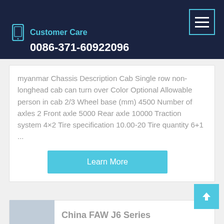Customer Care
0086-371-60922096
myanmar Chassis Description Cab Single row non-longhead cab can turn over Color Optional Allowable person in cab 2/3 Wheel base (mm) 4500 Number of axles 2 Front axle 5000 Rear axle 10000 Traction system 4×2 Tire specification 10.00-20 Tire quantity 6+1 ...
Learn More
China FAW J6 Series